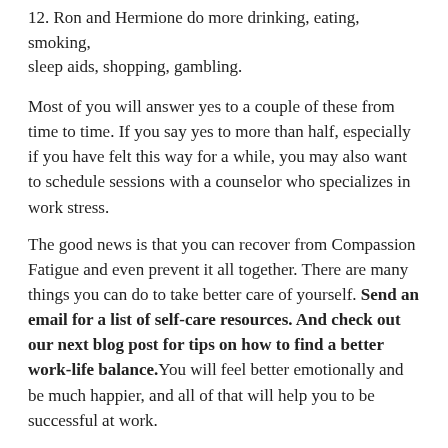12. Ron and Hermione do more drinking, eating, smoking, sleep aids, shopping, gambling.
Most of you will answer yes to a couple of these from time to time. If you say yes to more than half, especially if you have felt this way for a while, you may also want to schedule sessions with a counselor who specializes in work stress.
The good news is that you can recover from Compassion Fatigue and even prevent it all together. There are many things you can do to take better care of yourself. Send an email for a list of self-care resources. And check out our next blog post for tips on how to find a better work-life balance. You will feel better emotionally and be much happier, and all of that will help you to be successful at work.
This entry was posted in Career, Stress and tagged compassion fatigue...